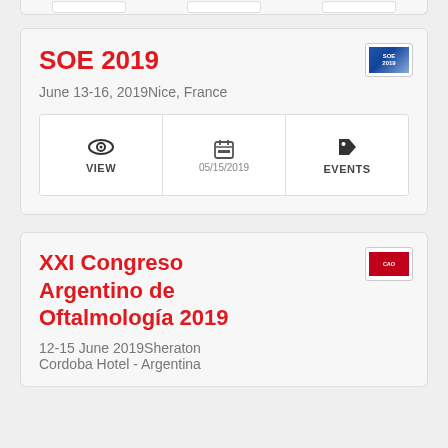SOE 2019
June 13-16, 2019Nice, France
VIEW | 05/15/2019 | EVENTS
XXI Congreso Argentino de Oftalmología 2019
12-15 June 2019Sheraton Cordoba Hotel - Argentina